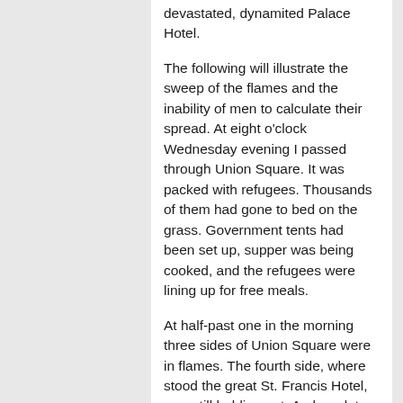devastated, dynamited Palace Hotel.
The following will illustrate the sweep of the flames and the inability of men to calculate their spread. At eight o'clock Wednesday evening I passed through Union Square. It was packed with refugees. Thousands of them had gone to bed on the grass. Government tents had been set up, supper was being cooked, and the refugees were lining up for free meals.
At half-past one in the morning three sides of Union Square were in flames. The fourth side, where stood the great St. Francis Hotel, was still holding out. An hour later, ignited from top and sides, the St. Francis was flaming heavenward. Union Square, heaped high with mountains of trunks, was